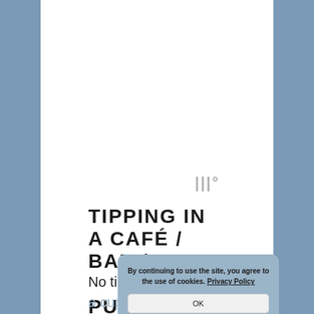[Figure (logo): Small logo/icon in gray, resembling stylized letter marks with a degree symbol]
TIPPING IN A CAFÉ / BAR / PUB
No tip is expected for a cup of coffee or a drink, although some people will leave the change rounding up from
By continuing to use the site, you agree to the use of cookies. Privacy Policy
OK